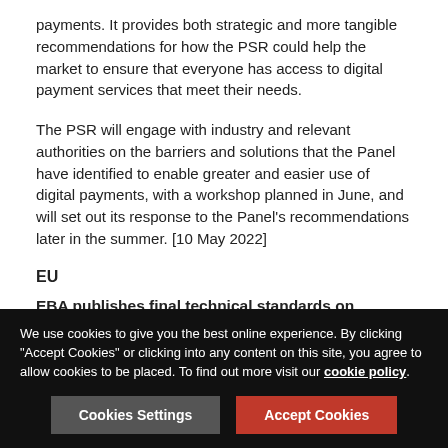payments. It provides both strategic and more tangible recommendations for how the PSR could help the market to ensure that everyone has access to digital payment services that meet their needs.
The PSR will engage with industry and relevant authorities on the barriers and solutions that the Panel have identified to enable greater and easier use of digital payments, with a workshop planned in June, and will set out its response to the Panel's recommendations later in the summer. [10 May 2022]
EU
EBA publishes final technical standards on crowdfunding service providers
The European Banking Authority (EBA) has published its final draft technical standards (RTS) on information...
We use cookies to give you the best online experience. By clicking "Accept Cookies" or clicking into any content on this site, you agree to allow cookies to be placed. To find out more visit our cookie policy.